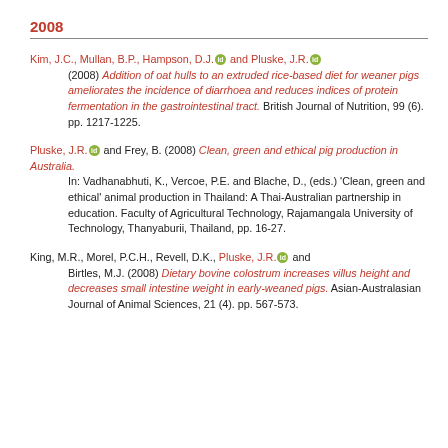2008
Kim, J.C., Mullan, B.P., Hampson, D.J. [orcid] and Pluske, J.R. [orcid] (2008) Addition of oat hulls to an extruded rice-based diet for weaner pigs ameliorates the incidence of diarrhoea and reduces indices of protein fermentation in the gastrointestinal tract. British Journal of Nutrition, 99 (6). pp. 1217-1225.
Pluske, J.R. [orcid] and Frey, B. (2008) Clean, green and ethical pig production in Australia. In: Vadhanabhuti, K., Vercoe, P.E. and Blache, D., (eds.) 'Clean, green and ethical' animal production in Thailand: A Thai-Australian partnership in education. Faculty of Agricultural Technology, Rajamangala University of Technology, Thanyaburii, Thailand, pp. 16-27.
King, M.R., Morel, P.C.H., Revell, D.K., Pluske, J.R. [orcid] and Birtles, M.J. (2008) Dietary bovine colostrum increases villus height and decreases small intestine weight in early-weaned pigs. Asian-Australasian Journal of Animal Sciences, 21 (4). pp. 567-573.